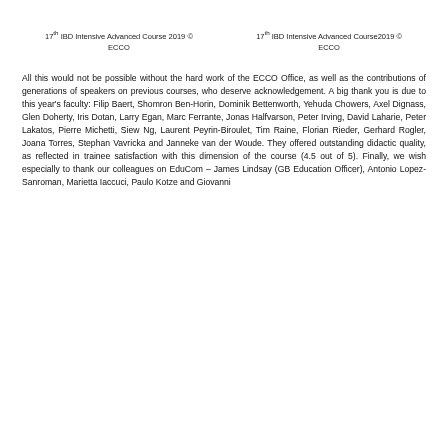17th IBD Intensive Advanced Course 2019 © ECCO    17th IBD Intensive Advanced Course2019 © ECCO
All this would not be possible without the hard work of the ECCO Office, as well as the contributions of generations of speakers on previous courses, who deserve acknowledgement. A big thank you is due to this year's faculty: Filip Baert, Shomron Ben-Horin, Dominik Bettenworth, Yehuda Chowers, Axel Dignass, Glen Doherty, Iris Dotan, Larry Egan, Marc Ferrante, Jonas Halfvarson, Peter Irving, David Laharie, Peter Lakatos, Pierre Michetti, Siew Ng, Laurent Peyrin-Biroulet, Tim Raine, Florian Rieder, Gerhard Rogler, Joana Torres, Stephan Vavricka and Janneke van der Woude. They offered outstanding didactic quality, as reflected in trainee satisfaction with this dimension of the course (4.5 out of 5). Finally, we wish especially to thank our colleagues on EduCom – James Lindsay (GB Education Officer), Antonio Lopez-Sanroman, Marietta Iaccuci, Paulo Kotze and Giovanni